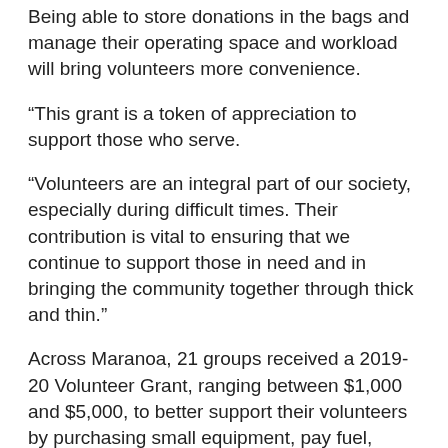Being able to store donations in the bags and manage their operating space and workload will bring volunteers more convenience.
“This grant is a token of appreciation to support those who serve.
“Volunteers are an integral part of our society, especially during difficult times. Their contribution is vital to ensuring that we continue to support those in need and in bringing the community together through thick and thin.”
Across Maranoa, 21 groups received a 2019-20 Volunteer Grant, ranging between $1,000 and $5,000, to better support their volunteers by purchasing small equipment, pay fuel, transport and training costs. Maranoa received $65,770 in 2019-20 Volunteer Grant round.
National Volunteer Week runs from 18-24 May and is